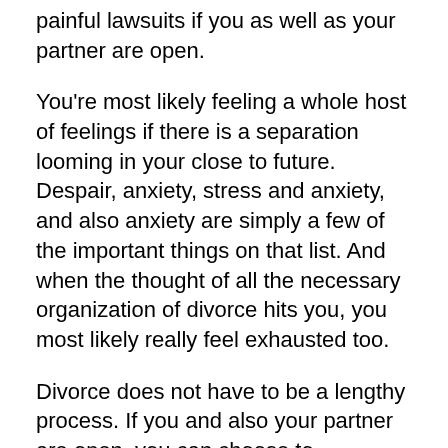painful lawsuits if you as well as your partner are open.
You're most likely feeling a whole host of feelings if there is a separation looming in your close to future. Despair, anxiety, stress and anxiety, and also anxiety are simply a few of the important things on that list. And when the thought of all the necessary organization of divorce hits you, you most likely really feel exhausted too.
Divorce does not have to be a lengthy process. If you and also your partner are open, you can choose to moderate your means via this difficult time as opposed to undergo agonizing lawsuits.
Specifically for how long does divorce via